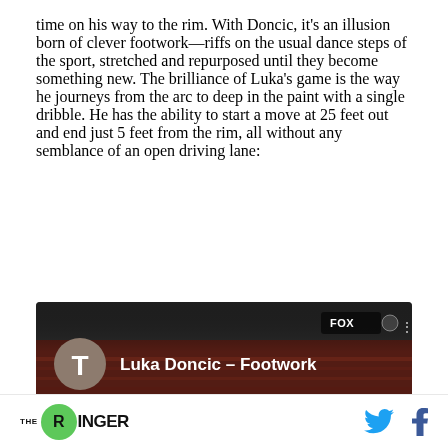time on his way to the rim. With Doncic, it's an illusion born of clever footwork—riffs on the usual dance steps of the sport, stretched and repurposed until they become something new. The brilliance of Luka's game is the way he journeys from the arc to deep in the paint with a single dribble. He has the ability to start a move at 25 feet out and end just 5 feet from the rim, all without any semblance of an open driving lane:
[Figure (screenshot): Video thumbnail showing 'Luka Doncic – Footwork' with a brown circle avatar with letter T, FOX Sports logo badge in top right corner, and crowd scene in background]
THE RINGER [logo] [Twitter icon] [Facebook icon]